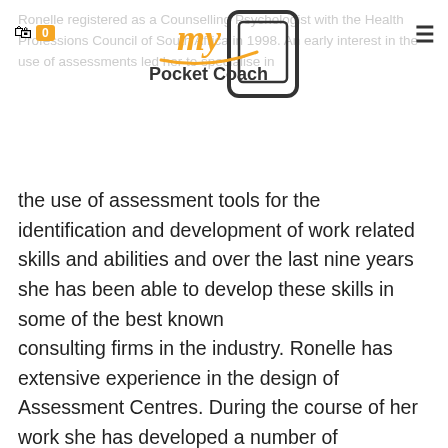My Pocket Coach — logo with cart and menu
Ronelle registered as a Counselling Psychologist with the Health Professions Council of South Africa in 1998. An early interest in the use of assessments led her to specialise in the use of assessment tools for the identification and development of work related skills and abilities and over the last nine years she has been able to develop these skills in some of the best known consulting firms in the industry. Ronelle has extensive experience in the design of Assessment Centres. During the course of her work she has developed a number of competency-based assessment tools for use across different contexts and has also earned accreditation to use various psychometric tools with the view to providing a holistic and integrated approach to assessment. Given Ronelle's work with senior managers she has evolved an interest in the development of leadership ability and is currently focusing on using the assessment and